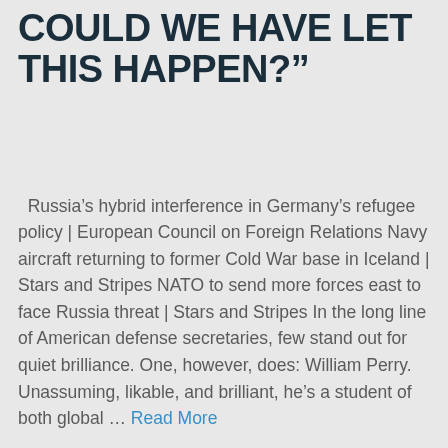COULD WE HAVE LET THIS HAPPEN?”
Russia’s hybrid interference in Germany’s refugee policy | European Council on Foreign Relations Navy aircraft returning to former Cold War base in Iceland | Stars and Stripes NATO to send more forces east to face Russia threat | Stars and Stripes In the long line of American defense secretaries, few stand out for quiet brilliance. One, however, does: William Perry. Unassuming, likable, and brilliant, he’s a student of both global … Read More